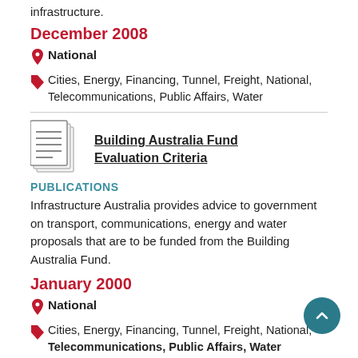infrastructure.
December 2008
National
Cities, Energy, Financing, Tunnel, Freight, National, Telecommunications, Public Affairs, Water
[Figure (illustration): Document/publication icon showing stacked pages with lines]
Building Australia Fund Evaluation Criteria
PUBLICATIONS
Infrastructure Australia provides advice to government on transport, communications, energy and water proposals that are to be funded from the Building Australia Fund.
January 2000
National
Cities, Energy, Financing, Tunnel, Freight, National, Telecommunications, Public Affairs, Water